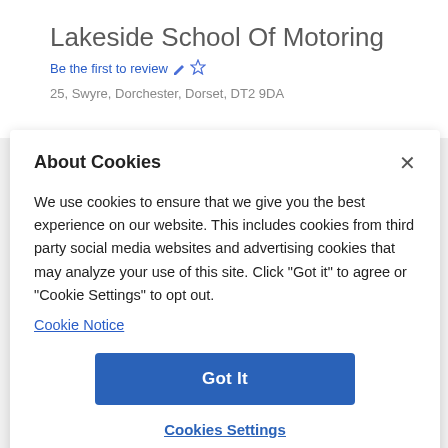Lakeside School Of Motoring
Be the first to review ✏️☆
25, Swyre, Dorchester, Dorset, DT2 9DA
About Cookies
We use cookies to ensure that we give you the best experience on our website. This includes cookies from third party social media websites and advertising cookies that may analyze your use of this site. Click "Got it" to agree or "Cookie Settings" to opt out.
Cookie Notice
Got It
Cookies Settings